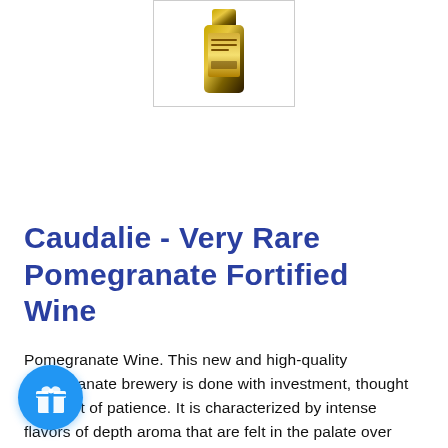[Figure (photo): Small product image of a wine bottle in a gold/dark packaging, displayed in a white bordered thumbnail box at the top center of the page.]
Caudalie - Very Rare Pomegranate Fortified Wine
Pomegranate Wine. This new and high-quality pomegranate brewery is done with investment, thought and a lot of patience. It is characterized by intense flavors of depth aroma that are felt in the palate over time. Filled with pleasure and heat the taste
[Figure (illustration): Blue circular gift/present icon button in the bottom-left corner.]